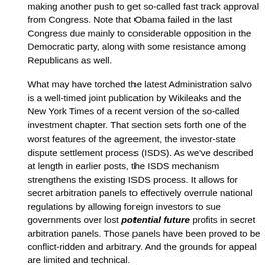making another push to get so-called fast track approval from Congress. Note that Obama failed in the last Congress due mainly to considerable opposition in the Democratic party, along with some resistance among Republicans as well.
What may have torched the latest Administration salvo is a well-timed joint publication by Wikileaks and the New York Times of a recent version of the so-called investment chapter. That section sets forth one of the worst features of the agreement, the investor-state dispute settlement process (ISDS). As we've described at length in earlier posts, the ISDS mechanism strengthens the existing ISDS process. It allows for secret arbitration panels to effectively overrule national regulations by allowing foreign investors to sue governments over lost potential future profits in secret arbitration panels. Those panels have been proved to be conflict-ridden and arbitrary. And the grounds for appeal are limited and technical.
Mind you, the dangers of this pact are hardly unknown to anyone who has been paying attention. Elizabeth Warren tried to escalate concerns via a Washington Post op ed late last month. However, the administration has gone to unusual lengths to prevent Congress from making a proper review of the draft text, so the significance of the leak should not be